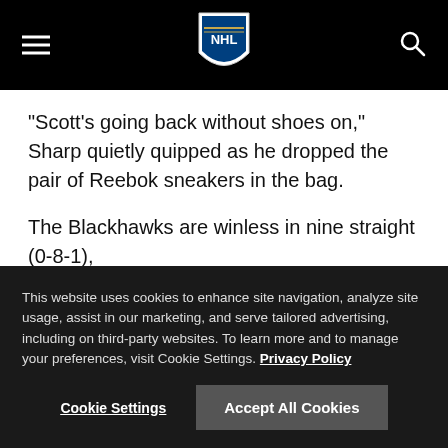NHL logo, hamburger menu, search icon
"Scott's going back without shoes on," Sharp quietly quipped as he dropped the pair of Reebok sneakers in the bag.
The Blackhawks are winless in nine straight (0-8-1),
This website uses cookies to enhance site navigation, analyze site usage, assist in our marketing, and serve tailored advertising, including on third-party websites. To learn more and to manage your preferences, visit Cookie Settings. Privacy Policy
Cookie Settings   Accept All Cookies